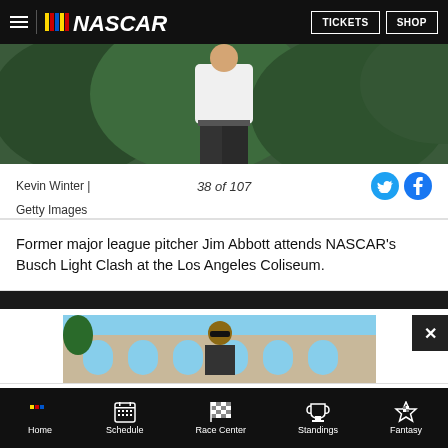NASCAR | TICKETS | SHOP
[Figure (photo): Person standing in front of green hedge/bushes, wearing white shirt and dark pants]
Kevin Winter | 38 of 107
Getty Images
Former major league pitcher Jim Abbott attends NASCAR's Busch Light Clash at the Los Angeles Coliseum.
[Figure (photo): Person wearing sunglasses standing in front of building with arches]
[Figure (screenshot): NASCAR advertisement banner: NASCAR BUY TICKETS! YOU'VE GOTTA BE THERE!]
Home | Schedule | Race Center | Standings | Fantasy